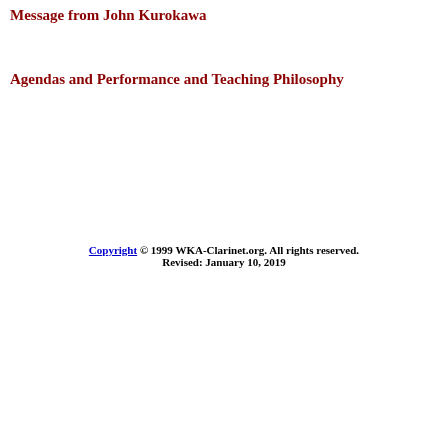Message from John Kurokawa
Agendas and Performance and Teaching Philosophy
Copyright © 1999 WKA-Clarinet.org. All rights reserved. Revised: January 10, 2019